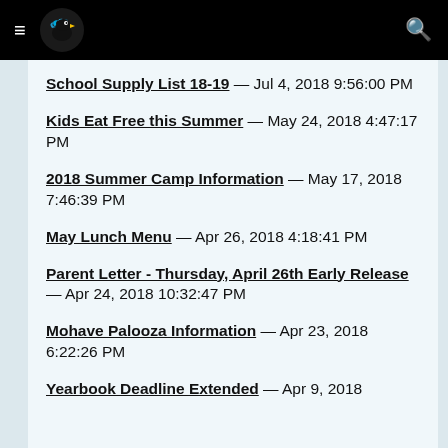School website navigation header with hamburger menu, bird logo, and search icon
School Supply List 18-19 — Jul 4, 2018 9:56:00 PM
Kids Eat Free this Summer — May 24, 2018 4:47:17 PM
2018 Summer Camp Information — May 17, 2018 7:46:39 PM
May Lunch Menu — Apr 26, 2018 4:18:41 PM
Parent Letter - Thursday, April 26th Early Release — Apr 24, 2018 10:32:47 PM
Mohave Palooza Information — Apr 23, 2018 6:22:26 PM
Yearbook Deadline Extended — Apr 9, 2018